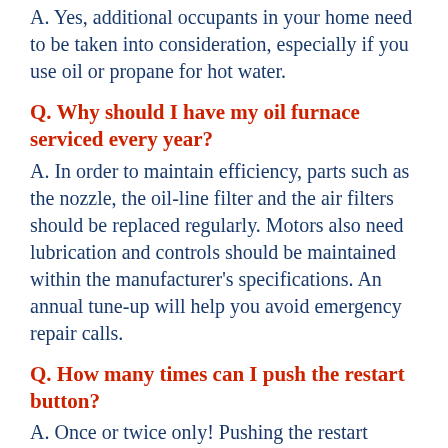A. Yes, additional occupants in your home need to be taken into consideration, especially if you use oil or propane for hot water.
Q. Why should I have my oil furnace serviced every year?
A. In order to maintain efficiency, parts such as the nozzle, the oil-line filter and the air filters should be replaced regularly. Motors also need lubrication and controls should be maintained within the manufacturer's specifications. An annual tune-up will help you avoid emergency repair calls.
Q. How many times can I push the restart button?
A. Once or twice only! Pushing the restart button repeatedly will cause your firebox to flood, and heating oil, unlike gasoline, does not evaporate,